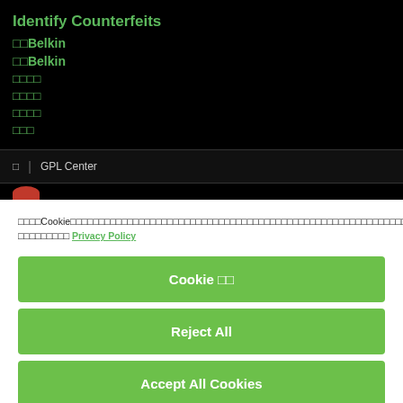Identify Counterfeits
□□Belkin
□□Belkin
□□□□
□□□□
□□□□
□□□
□ | GPL Center
□□□□Cookie□□□□□□□□□□□□□□□□□□□□□□□□□□□□□□□□□□□□□□□□□□□□□□□□□□□□□□□□□□□□□□□□□□□□□□□□□□□□□□□□□□□□□□□□□□□□□□□□ Privacy Policy
Cookie □□
Reject All
Accept All Cookies